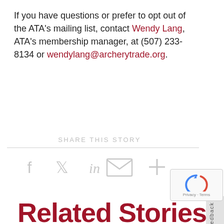If you have questions or prefer to opt out of the ATA's mailing list, contact Wendy Lang, ATA's membership manager, at (507) 233-8134 or wendylang@archerytrade.org.
SHARE THIS STORY
[Figure (infographic): Social share icons: Facebook, Twitter, LinkedIn, Email, More]
[Figure (other): Google reCAPTCHA widget with privacy and terms links]
Related Stories